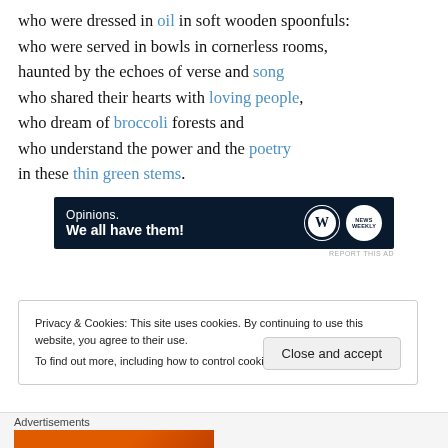who were dressed in oil in soft wooden spoonfuls:
who were served in bowls in cornerless rooms,
haunted by the echoes of verse and song
who shared their hearts with loving people,
who dream of broccoli forests and
who understand the power and the poetry
in these thin green stems.
[Figure (screenshot): Advertisement banner with dark navy background. Text reads 'Opinions. We all have them!' with WordPress W logo and another circular logo on the right.]
REPORT THIS AD
Privacy & Cookies: This site uses cookies. By continuing to use this website, you agree to their use.
To find out more, including how to control cookies, see here: Cookie Policy
Close and accept
Advertisements